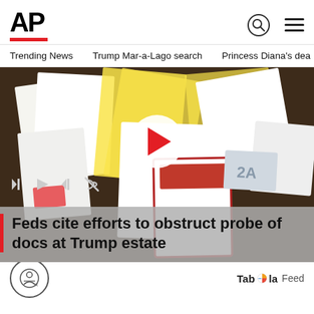[Figure (logo): AP (Associated Press) logo with red underline bar]
Trending News   Trump Mar-a-Lago search   Princess Diana's dea
[Figure (screenshot): Video thumbnail showing documents spread on a table at Trump estate, with play button overlay and media controls]
Feds cite efforts to obstruct probe of docs at Trump estate
Taboola Feed